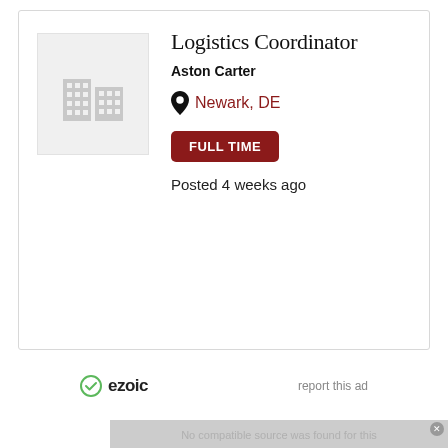[Figure (screenshot): Job listing card for Logistics Coordinator at Aston Carter, located in Newark, DE. Shows company building icon, job title, company name, location with pin icon, FULL TIME badge, and Posted 4 weeks ago text.]
Logistics Coordinator
Aston Carter
Newark, DE
FULL TIME
Posted 4 weeks ago
[Figure (logo): Ezoic logo with green checkmark circle icon and bold text 'ezoic']
report this ad
No compatible source was found for this